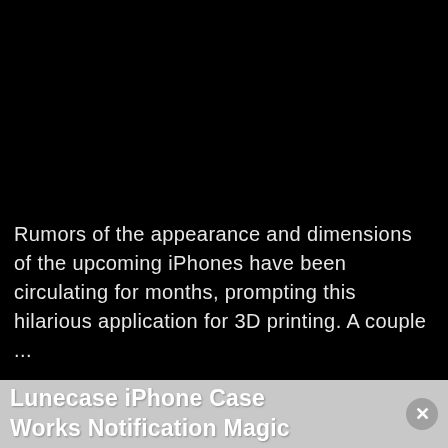[Figure (photo): Dark/black background area occupying the upper portion of the page]
Rumors of the appearance and dimensions of the upcoming iPhones have been circulating for months, prompting this hilarious application for 3D printing. A couple ...
Read >
Lunecase iPhone Case Works Notification Magic